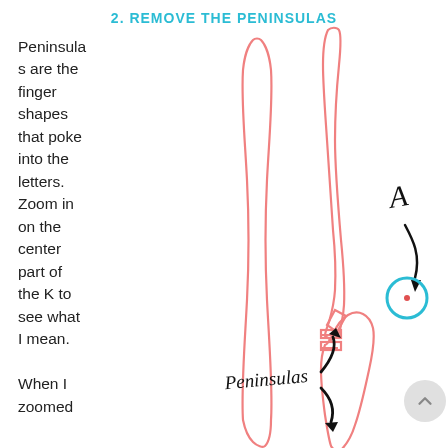2. REMOVE THE PENINSULAS
Peninsulas are the finger shapes that poke into the letters. Zoom in on the center part of the K to see what I mean.

When I zoomed
[Figure (illustration): Close-up diagram of the letter K outline in pink/salmon color, showing two peninsula shapes pointing inward. An annotation labeled 'A' with a curved arrow points to a circled peninsula on the right side. 'Peninsulas' is written in handwriting with curved arrows pointing to the peninsula regions at the bottom center.]